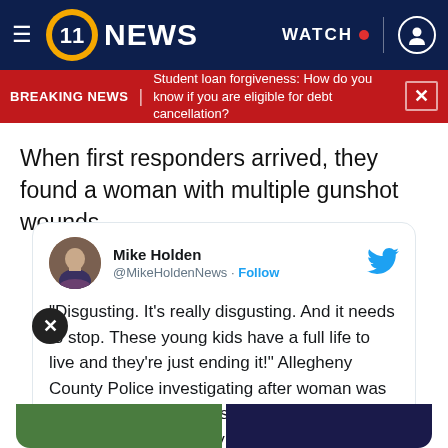WPXI 11 NEWS — WATCH
BREAKING NEWS | Student loan forgiveness: How do you know if you are eligible for debt cancellation?
When first responders arrived, they found a woman with multiple gunshot wounds.
[Figure (screenshot): Embedded tweet from Mike Holden (@MikeHoldenNews) with Follow button and Twitter bird icon. Tweet text: "Disgusting. It's really disgusting. And it needs to stop. These young kids have a full life to live and they're just ending it!" Allegheny County Police investigating after woman was shot to death in Mckees Rocks neighborhood. No arrests. WATCH my reports on @WPXI @ 12 & 5.]
[Figure (photo): Two thumbnail images at the bottom of the tweet card — left shows green trees/outdoor scene, right shows dark blue scene.]